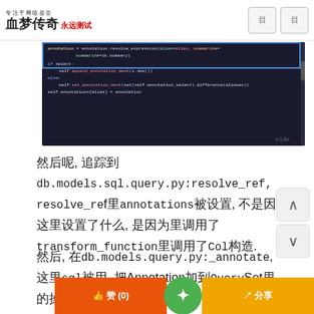专注于网络基金 血梦传奇 永远测试
[Figure (screenshot): Dark-themed code editor screenshot showing Python Django ORM code for resolve_ref and annotation_mask methods.]
然后呢, 追踪到db.models.sql.query.py:resolve_ref, resolve_ref里annotations被设置, 不是因为这里设置了什么, 是因为transform_function里调用了Col构造.
然后, 在db.models.query.py:_annotate, 这里sql被用, 把Annotation加到QuerySet里的操作.